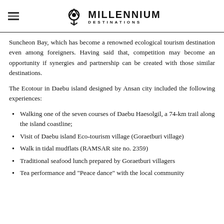MILLENNIUM DESTINATIONS
Suncheon Bay, which has become a renowned ecological tourism destination even among foreigners. Having said that, competition may become an opportunity if synergies and partnership can be created with those similar destinations.
The Ecotour in Daebu island designed by Ansan city included the following experiences:
Walking one of the seven courses of Daebu Haesolgil, a 74-km trail along the island coastline;
Visit of Daebu island Eco-tourism village (Goraetburi village)
Walk in tidal mudflats (RAMSAR site no. 2359)
Traditional seafood lunch prepared by Goraetburi villagers
Tea performance and "Peace dance" with the local community